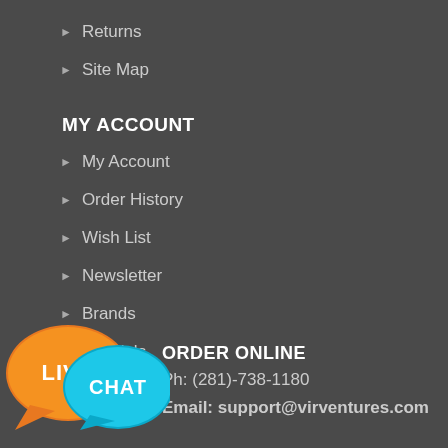▶ Returns
▶ Site Map
MY ACCOUNT
▶ My Account
▶ Order History
▶ Wish List
▶ Newsletter
▶ Brands
▶ Specials
ORDER ONLINE
Ph: (281)-738-1180
Email: support@virventures.com
[Figure (illustration): Live Chat button with orange and blue speech bubble bubbles showing 'LIVE CHAT' text]